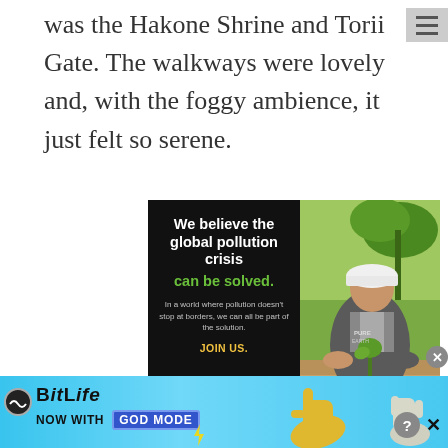was the Hakone Shrine and Torii Gate. The walkways were lovely and, with the foggy ambience, it just felt so serene.
[Figure (photo): Advertisement for Pure Earth showing a person in a white hard hat planting a sapling. Left panel (black background) reads: 'We believe the global pollution crisis can be solved. In a world where pollution doesn't stop at borders, we can all be part of the solution. JOIN US. PURE EARTH' with a yellow triangle logo. Right panel shows a photo of a person crouching and planting a seedling.]
[Figure (photo): Banner advertisement for BitLife mobile game with light blue gradient background. Shows BitLife logo with 'NOW WITH GOD MODE' text and a blue button, decorative thumbs-up hands. Close and help buttons visible.]